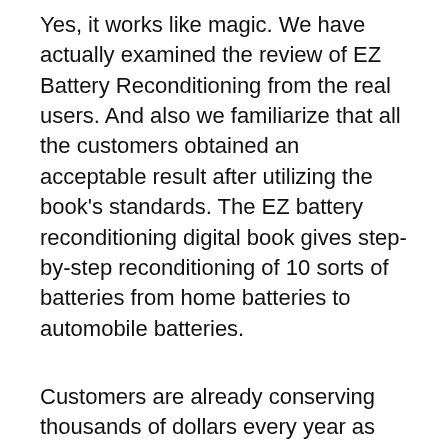Yes, it works like magic. We have actually examined the review of EZ Battery Reconditioning from the real users. And also we familiarize that all the customers obtained an acceptable result after utilizing the book's standards. The EZ battery reconditioning digital book gives step-by-step reconditioning of 10 sorts of batteries from home batteries to automobile batteries.
Customers are already conserving thousands of dollars every year as they don't need to get brand-new batteries anytime quickly. The only point they have to get is a tool required to refurbish the battery.